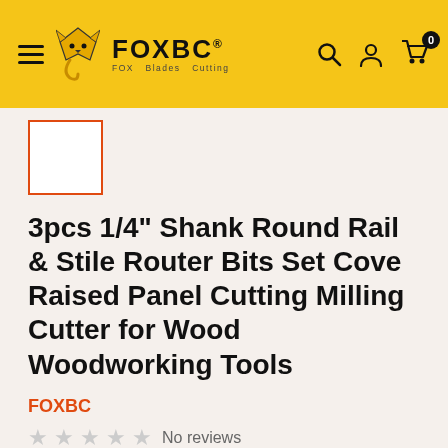FOXBC® — FOX Blades Cutting — navigation header with hamburger menu, search, account, and cart icons
[Figure (photo): Small product thumbnail placeholder with orange/red border]
3pcs 1/4" Shank Round Rail & Stile Router Bits Set Cove Raised Panel Cutting Milling Cutter for Wood Woodworking Tools
FOXBC
No reviews